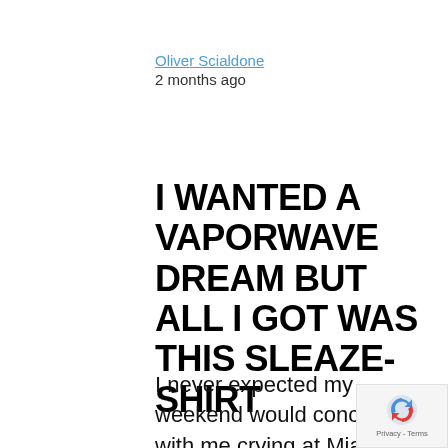Oliver Scialdone
2 months ago
I WANTED A VAPORWAVE DREAM BUT ALL I GOT WAS THIS SLEAZE-SHIRT
I never expected my weekend would conclude with me crying at Miami Beach Pride, but as the tears came welling up while I stood on the sidewalk about two blocks away from the diner where I sat for the most...